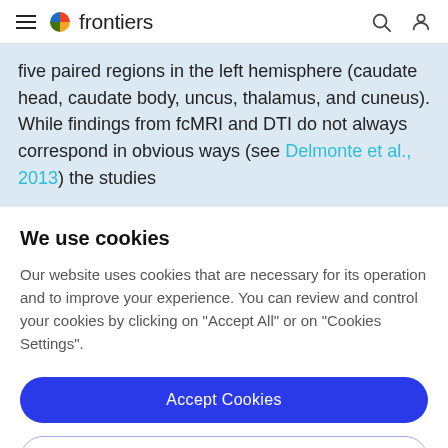frontiers
five paired regions in the left hemisphere (caudate head, caudate body, uncus, thalamus, and cuneus). While findings from fcMRI and DTI do not always correspond in obvious ways (see Delmonte et al., 2013) the studies
We use cookies
Our website uses cookies that are necessary for its operation and to improve your experience. You can review and control your cookies by clicking on "Accept All" or on "Cookies Settings".
Accept Cookies
Cookies Settings